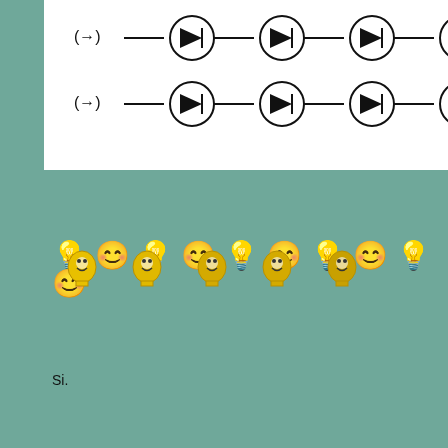[Figure (circuit-diagram): Circuit diagram showing two rows of diodes (LED symbols) connected in series with resistors, with current direction indicators (→) on the left side of each row.]
[Figure (other): Five lightbulb with smiley face emoji icons arranged in a row]
Si.
' Mysterious Moose Mountain ' - 1:35n2 - pt.II
http://www.freerails.com/view_topic.php?id=7318
' M:R:W Motor Speedway !!! ' - 1:32 Slotcar Racing L
http://www.slotforum.com/forums/index.php?sho
Back To Top
Posted: Sun Jun 30th, 2019 10:21 am
Si.
Moderator
Interesting chart, showing 8 different colour LEDs, rig